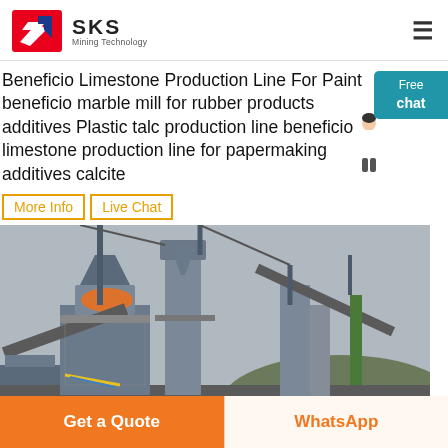SKS Mining Technology
Beneficio Limestone Production Line For Paint beneficio marble mill for rubber products additives Plastic talc production line beneficio limestone production line for papermaking additives calcite
More Info
Live Chat
[Figure (photo): Industrial limestone production facility with large machinery, crushers, conveyor belts and steel structures under overcast sky]
Get a Quote
WhatsApp